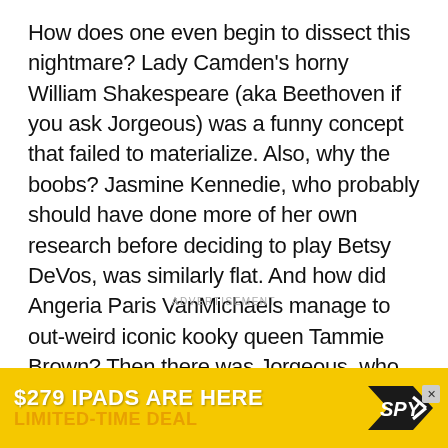How does one even begin to dissect this nightmare? Lady Camden's horny William Shakespeare (aka Beethoven if you ask Jorgeous) was a funny concept that failed to materialize. Also, why the boobs? Jasmine Kennedie, who probably should have done more of her own research before deciding to play Betsy DeVos, was similarly flat. And how did Angeria Paris VanMichaels manage to out-weird iconic kooky queen Tammie Brown? Then there was Jorgeous, who clearly knows Broad City inside and out, but failed to capture the essence of Ilana Glazer.
ADVERTISEMENT
[Figure (other): Advertisement banner for '$279 IPADS ARE HERE LIMITED-TIME DEAL' with SPY logo on yellow background]